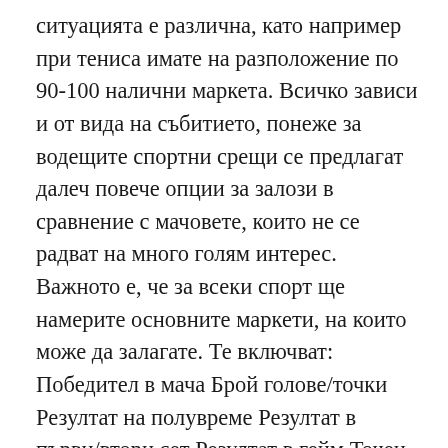ситуацията е различна, като например при тениса имате на разположение по 90-100 налични маркета. Всичко зависи и от вида на събитието, понеже за водещите спортни срещи се предлагат далеч повече опции за залози в сравнение с мачовете, които не се радват на много голям интерес. Важното е, че за всеки спорт ще намерите основните маркети, на които може да залагате. Те включват: Победител в мача Брой голове/точки Резултат на полувреме Резултат в първи/втори сет Резултат в гейм Точен резултат Двоен шанс Хендикап възможности Голмайстори Slotozal (Слотозал) Slotozal – новое казино с большим выбором слотов, современным